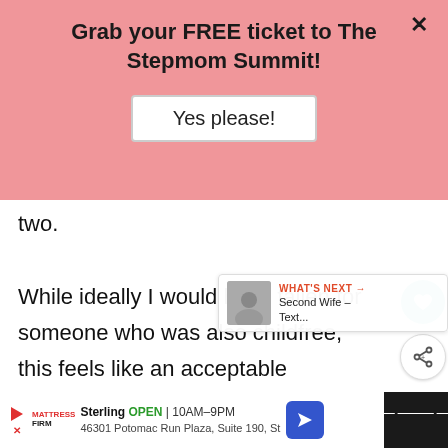Grab your FREE ticket to The Stepmom Summit!
Yes please!
two.
While ideally I would have fallen for someone who was also childfree, this feels like an acceptable compromise. If you want children, this is not a tenable situation. You will either
WHAT'S NEXT → Second Wife – Text...
Sterling OPEN 10AM–9PM 46301 Potomac Run Plaza, Suite 190, St